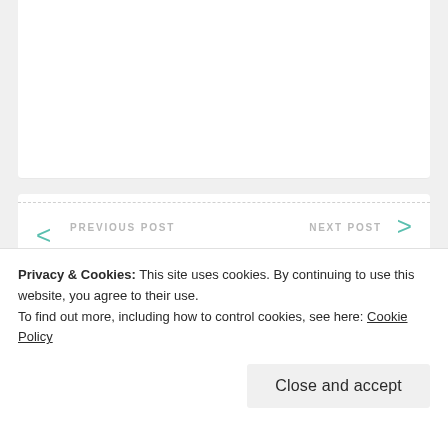PREVIOUS POST
Writing Progress October 5 – October 11, 2015
NEXT POST
Privacy & Cookies: This site uses cookies. By continuing to use this website, you agree to their use.
To find out more, including how to control cookies, see here: Cookie Policy
Close and accept